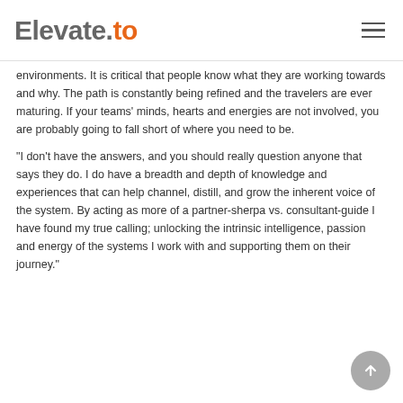Elevate.to
environments. It is critical that people know what they are working towards and why. The path is constantly being refined and the travelers are ever maturing. If your teams' minds, hearts and energies are not involved, you are probably going to fall short of where you need to be.
"I don't have the answers, and you should really question anyone that says they do. I do have a breadth and depth of knowledge and experiences that can help channel, distill, and grow the inherent voice of the system. By acting as more of a partner-sherpa vs. consultant-guide I have found my true calling; unlocking the intrinsic intelligence, passion and energy of the systems I work with and supporting them on their journey."